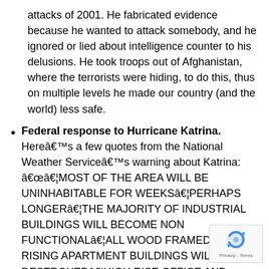attacks of 2001. He fabricated evidence because he wanted to attack somebody, and he ignored or lied about intelligence counter to his delusions. He took troops out of Afghanistan, where the terrorists were hiding, to do this, thus on multiple levels he made our country (and the world) less safe.
Federal response to Hurricane Katrina. Hereâ€™s a few quotes from the National Weather Serviceâ€™s warning about Katrina: â€â€¦MOST OF THE AREA WILL BE UNINHABITABLE FOR WEEKSâ€¦PERHAPS LONGERâ€¦THE MAJORITY OF INDUSTRIAL BUILDINGS WILL BECOME NON FUNCTIONALâ€¦ALL WOOD FRAMED LOW RISING APARTMENT BUILDINGS WILL BE DESTROYEDâ€¦HIGH RISE OFFICE AND APARTMENT BUILDINGS WILL SWAY DANGEROUSLYâ€¦A FEW TO THE POINT OF TOTAL COLLAPSE. ALL WINDOWS WILL BLOW OUTâ€¦THE BLOWN DEBRIS WILL CREATE ADDITIONAL